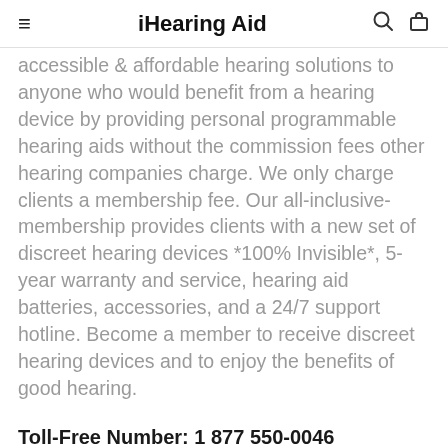iHearing Aid
accessible & affordable hearing solutions to anyone who would benefit from a hearing device by providing personal programmable hearing aids without the commission fees other hearing companies charge. We only charge clients a membership fee. Our all-inclusive-membership provides clients with a new set of discreet hearing devices *100% Invisible*, 5-year warranty and service, hearing aid batteries, accessories, and a 24/7 support hotline. Become a member to receive discreet hearing devices and to enjoy the benefits of good hearing.
Toll-Free Number: 1 877 550-0046
More Information: Click HEAR